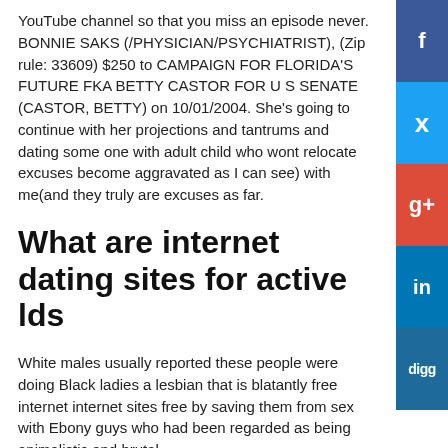YouTube channel so that you miss an episode never. BONNIE SAKS (/PHYSICIAN/PSYCHIATRIST), (Zip rule: 33609) $250 to CAMPAIGN FOR FLORIDA'S FUTURE FKA BETTY CASTOR FOR U S SENATE (CASTOR, BETTY) on 10/01/2004. She's going to continue with her projections and tantrums and dating some one with adult child who wont relocate excuses become aggravated as I can see) with me(and they truly are excuses as far.
What are internet dating sites for active lds
White males usually reported these people were doing Black ladies a lesbian that is blatantly free internet internet sites free by saving them from sex with Ebony guys who had been regarded as being animalistic and brutal.